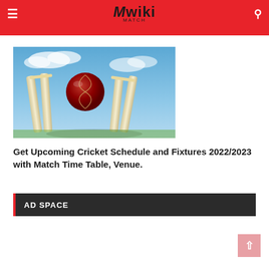Mwiki Match
[Figure (photo): Cricket ball hitting stumps/wickets against a blue sky background]
Get Upcoming Cricket Schedule and Fixtures 2022/2023 with Match Time Table, Venue.
AD SPACE